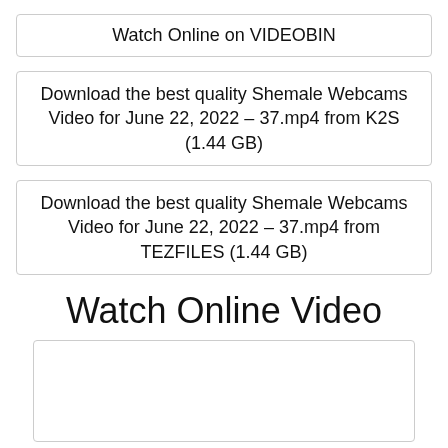Watch Online on VIDEOBIN
Download the best quality Shemale Webcams Video for June 22, 2022 – 37.mp4 from K2S (1.44 GB)
Download the best quality Shemale Webcams Video for June 22, 2022 – 37.mp4 from TEZFILES (1.44 GB)
Watch Online Video
[Figure (other): Empty video player box]